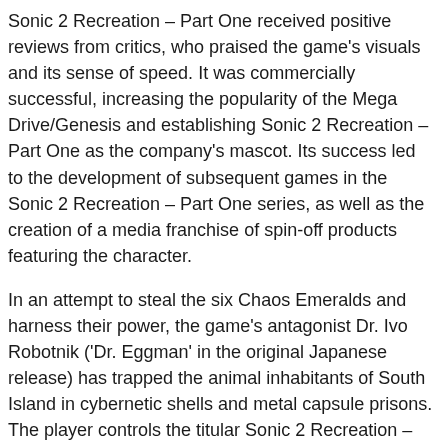Sonic 2 Recreation – Part One received positive reviews from critics, who praised the game's visuals and its sense of speed. It was commercially successful, increasing the popularity of the Mega Drive/Genesis and establishing Sonic 2 Recreation – Part One as the company's mascot. Its success led to the development of subsequent games in the Sonic 2 Recreation – Part One series, as well as the creation of a media franchise of spin-off products featuring the character.
In an attempt to steal the six Chaos Emeralds and harness their power, the game's antagonist Dr. Ivo Robotnik ('Dr. Eggman' in the original Japanese release) has trapped the animal inhabitants of South Island in cybernetic shells and metal capsule prisons. The player controls the titular Sonic 2 Recreation – Part One, who aims to stop Robotnik's plans by freeing his animal friends and collecting all Chaos Emeralds himself.
Sonic 2 Recreation – Part One plays as a 2D side-scrolling platformer. The gameplay centers around Sonic's ability to run at